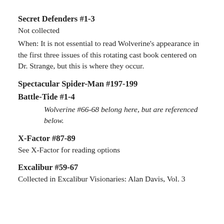Secret Defenders #1-3
Not collected
When: It is not essential to read Wolverine's appearance in the first three issues of this rotating cast book centered on Dr. Strange, but this is where they occur.
Spectacular Spider-Man #197-199
Battle-Tide #1-4
Wolverine #66-68 belong here, but are referenced below.
X-Factor #87-89
See X-Factor for reading options
Excalibur #59-67
Collected in Excalibur Visionaries: Alan Davis, Vol. 3